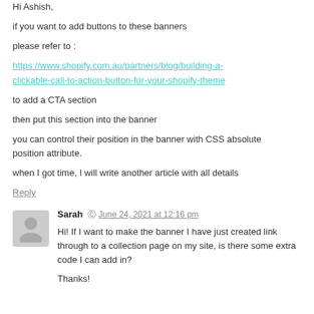Hi Ashish,
if you want to add buttons to these banners
please refer to :
https://www.shopify.com.au/partners/blog/building-a-clickable-call-to-action-button-for-your-shopify-theme
to add a CTA section
then put this section into the banner
you can control their position in the banner with CSS absolute position attribute.
when I got time, I will write another article with all details
Reply
Sarah  June 24, 2021 at 12:16 pm
Hi! If I want to make the banner I have just created link through to a collection page on my site, is there some extra code I can add in?

Thanks!